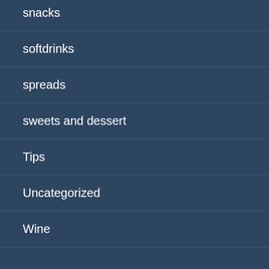snacks
softdrinks
spreads
sweets and dessert
Tips
Uncategorized
Wine
META
Log in